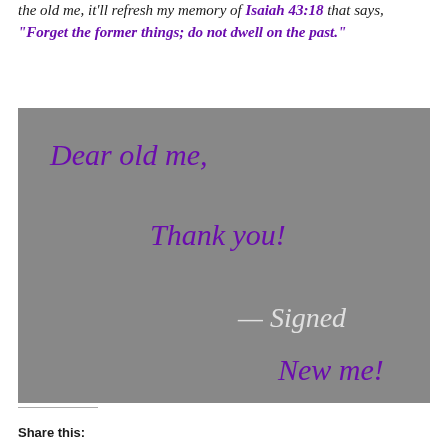the old me, it'll refresh my memory of Isaiah 43:18 that says, "Forget the former things; do not dwell on the past."
[Figure (illustration): Gray box letter with purple italic text: 'Dear old me, Thank you!' and white italic '— Signed' and purple italic 'New me!']
Share this: